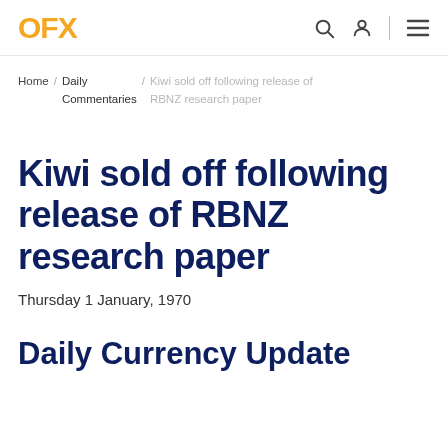OFX
Home / Daily Commentaries / Kiwi sold off following release of RBNZ research paper
Kiwi sold off following release of RBNZ research paper
Thursday 1 January, 1970
Daily Currency Update